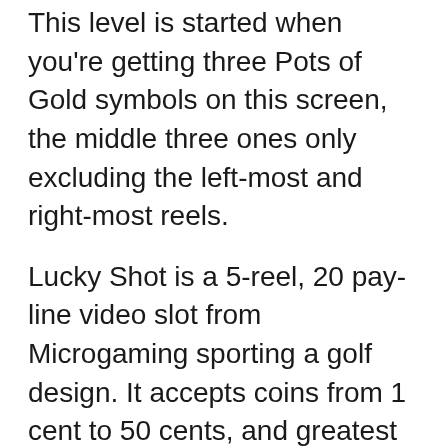This level is started when you're getting three Pots of Gold symbols on this screen, the middle three ones only excluding the left-most and right-most reels.
Lucky Shot is a 5-reel, 20 pay-line video slot from Microgaming sporting a golf design. It accepts coins from 1 cent to 50 cents, and greatest number of coins that you can bet per spin is 200 ($100). There are 35 winning combinations, the # 1 jackpot of 15,000 coins, scatters (Gopher), up to 18 free spins, collectively with a Gopher Bonus Game. To win the 18 free spins, you would be smart to hit three or more Golf Cart symbols. To activate the bonus round, you would need to hit three or more Gopher symbols on the reels. Symbols include Gopher, Lucky Shot,